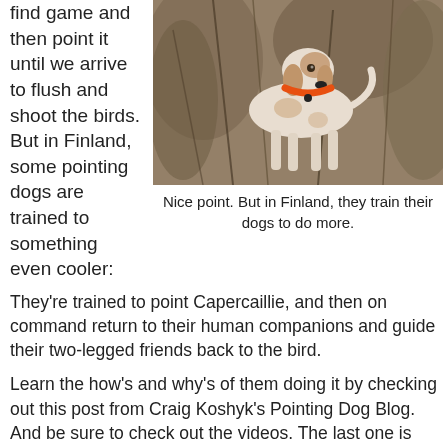find game and then point it until we arrive to flush and shoot the birds. But in Finland, some pointing dogs are trained to something even cooler:
[Figure (photo): A white and brown pointer dog with an orange collar standing alert in brushy woodland terrain]
Nice point. But in Finland, they train their dogs to do more.
They're trained to point Capercaillie, and then on command return to their human companions and guide their two-legged friends back to the bird.
Learn the how's and why's of them doing it by checking out this post from Craig Koshyk's Pointing Dog Blog. And be sure to check out the videos. The last one is amazing.
Versatility Part 1: Reporting From Finland…